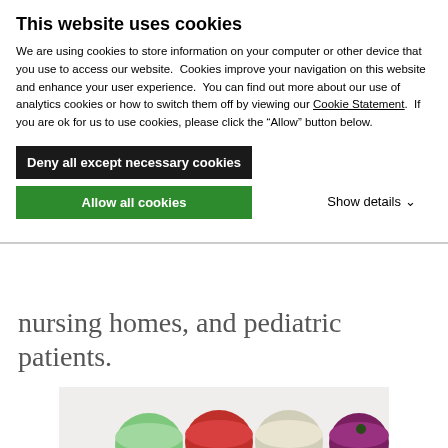This website uses cookies
We are using cookies to store information on your computer or other device that you use to access our website.  Cookies improve your navigation on this website and enhance your user experience.  You can find out more about our use of analytics cookies or how to switch them off by viewing our Cookie Statement.  If you are ok for us to use cookies, please click the “Allow” button below.
Deny all except necessary cookies
Allow all cookies
Show details
nursing homes, and pediatric patients.
[Figure (photo): Overhead view of multiple colorful smoothies or purees in small cups arranged on a white table, including green, red, white, purple, yellow, orange, and pink varieties with various fruit garnishes.]